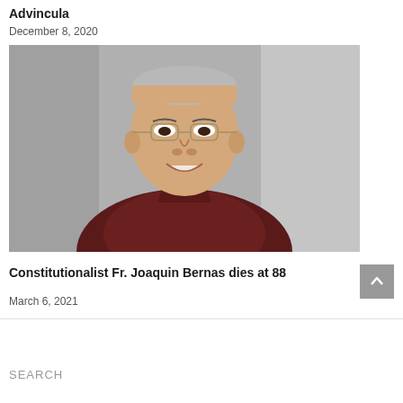Advincula
December 8, 2020
[Figure (photo): Portrait photo of an elderly Filipino man with glasses, smiling, wearing a dark maroon polo shirt, against a gray background.]
Constitutionalist Fr. Joaquin Bernas dies at 88
March 6, 2021
SEARCH